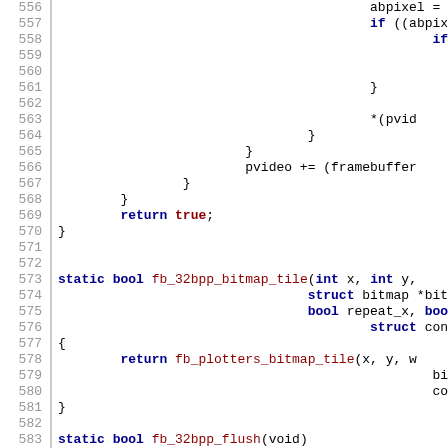Source code listing lines 556-585, showing C code for fb_32bpp functions including fb_32bpp_bitmap_tile and fb_32bpp_flush